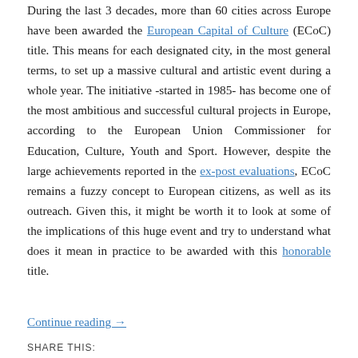During the last 3 decades, more than 60 cities across Europe have been awarded the European Capital of Culture (ECoC) title. This means for each designated city, in the most general terms, to set up a massive cultural and artistic event during a whole year. The initiative -started in 1985- has become one of the most ambitious and successful cultural projects in Europe, according to the European Union Commissioner for Education, Culture, Youth and Sport. However, despite the large achievements reported in the ex-post evaluations, ECoC remains a fuzzy concept to European citizens, as well as its outreach. Given this, it might be worth it to look at some of the implications of this huge event and try to understand what does it mean in practice to be awarded with this honorable title.
Continue reading →
SHARE THIS: